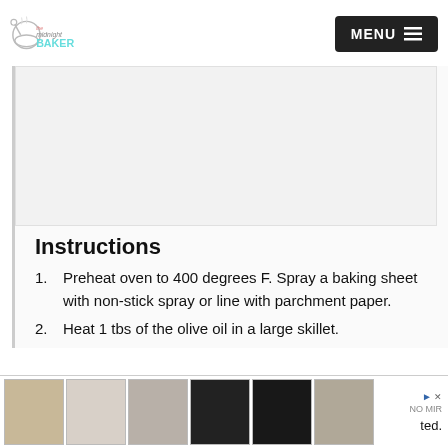The Midnight Baker — MENU
[Figure (photo): Large empty/placeholder image area below the header, light gray background within a bordered content column]
Instructions
Preheat oven to 400 degrees F. Spray a baking sheet with non-stick spray or line with parchment paper.
Heat 1 tbs of the olive oil in a large skillet.
[Figure (photo): Advertisement bar at the bottom showing product images (phone cases and accessories) with a close button and partial text 'ted.']